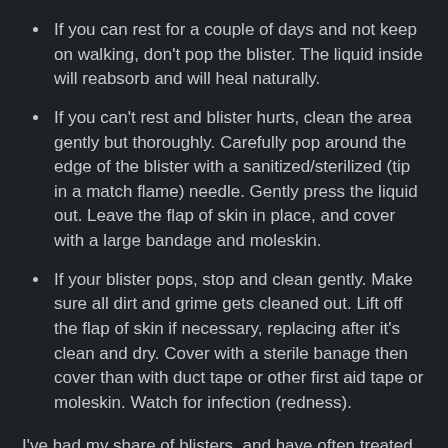If you can rest for a couple of days and not keep on walking, don't pop the blister. The liquid inside will reabsorb and will heal naturally.
If you can't rest and blister hurts, clean the area gently but thoroughly. Carefully pop around the edge of the blister with a sanitized/sterilized (tip in a match flame) needle. Gently press the liquid out. Leave the flap of skin in place, and cover with a large bandage and moleskin.
If your blister pops, stop and clean gently. Make sure all dirt and grime gets cleaned out. Lift off the flap of skin if necessary, replacing after it's clean and dry. Cover with a sterile banage then cover than with duct tape or other first aid tape or moleskin. Watch for infection (redness).
I've had my share of blisters, and have often treated them incorrectly, leaving scars in their wake. Here's just a tidbit of info that I hope makes your travels easier and painless.